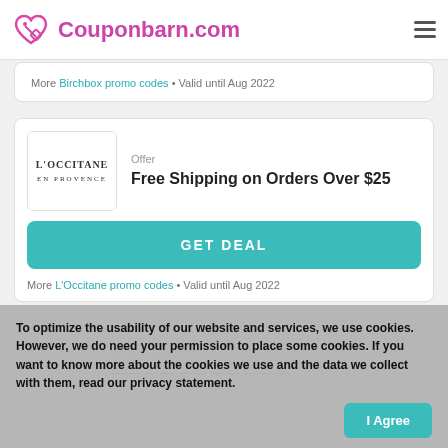Couponbarn.com
More Birchbox promo codes • Valid until Aug 2022
Offer
Free Shipping on Orders Over $25
GET DEAL
More L'Occitane promo codes • Valid until Aug 2022
Promo code
To optimize the usability of our website and services, we use cookies. However, we do need your permission to place some cookies. If you want to know more about the cookies we use and the data we collect with them, read our privacy statement.
I Agree